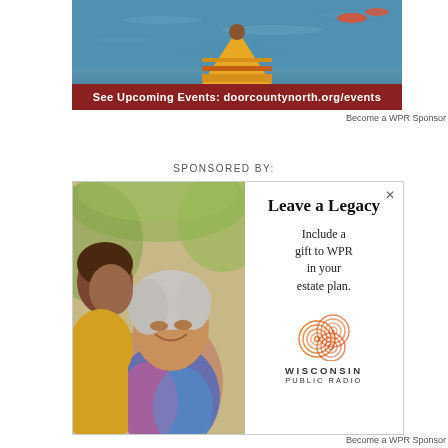[Figure (photo): Advertisement banner showing kayaking on water with text 'See Upcoming Events: doorcountynorth.org/events' on a dark red banner at the bottom. Yellow kayak visible in foreground on blue water.]
Become a WPR Sponsor
SPONSORED BY:
[Figure (photo): Advertisement for Wisconsin Public Radio showing a grandmother and grandchild with text 'Leave a Legacy - Include a gift to WPR in your estate plan.' and the Wisconsin Public Radio logo with overlapping circles.]
Become a WPR Sponsor